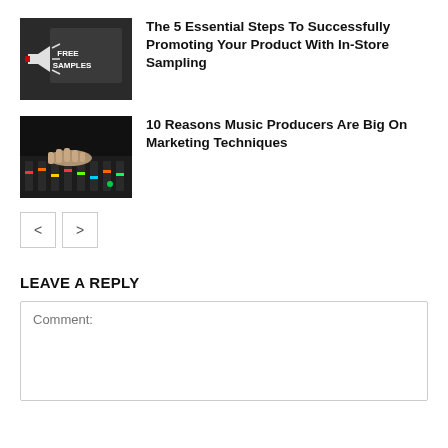[Figure (photo): Thumbnail image of a megaphone with a chalkboard showing 'FREE SAMPLES' text]
The 5 Essential Steps To Successfully Promoting Your Product With In-Store Sampling
[Figure (photo): Thumbnail image of hands on a music mixing board with colorful faders]
10 Reasons Music Producers Are Big On Marketing Techniques
< >
LEAVE A REPLY
Comment: